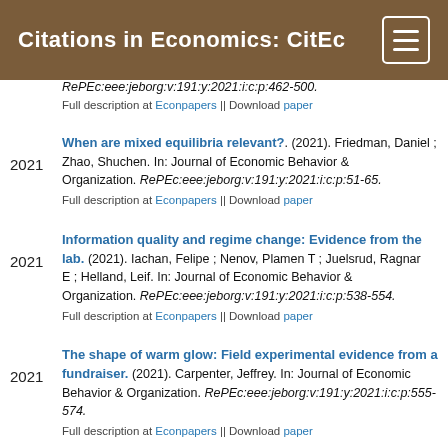Citations in Economics: CitEc
RePEc:eee:jeborg:v:191:y:2021:i:c:p:462-500.
Full description at Econpapers || Download paper
When are mixed equilibria relevant?. (2021). Friedman, Daniel ; Zhao, Shuchen. In: Journal of Economic Behavior & Organization. RePEc:eee:jeborg:v:191:y:2021:i:c:p:51-65. Full description at Econpapers || Download paper
Information quality and regime change: Evidence from the lab. (2021). Iachan, Felipe ; Nenov, Plamen T ; Juelsrud, Ragnar E ; Helland, Leif. In: Journal of Economic Behavior & Organization. RePEc:eee:jeborg:v:191:y:2021:i:c:p:538-554. Full description at Econpapers || Download paper
The shape of warm glow: Field experimental evidence from a fundraiser. (2021). Carpenter, Jeffrey. In: Journal of Economic Behavior & Organization. RePEc:eee:jeborg:v:191:y:2021:i:c:p:555-574. Full description at Econpapers || Download paper